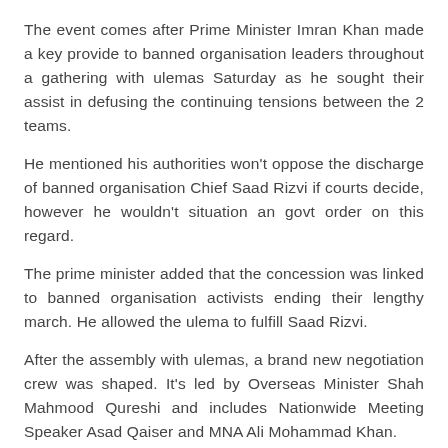The event comes after Prime Minister Imran Khan made a key provide to banned organisation leaders throughout a gathering with ulemas Saturday as he sought their assist in defusing the continuing tensions between the 2 teams.
He mentioned his authorities won't oppose the discharge of banned organisation Chief Saad Rizvi if courts decide, however he wouldn't situation an govt order on this regard.
The prime minister added that the concession was linked to banned organisation activists ending their lengthy march. He allowed the ulema to fulfill Saad Rizvi.
After the assembly with ulemas, a brand new negotiation crew was shaped. It's led by Overseas Minister Shah Mahmood Qureshi and includes Nationwide Meeting Speaker Asad Qaiser and MNA Ali Mohammad Khan.
Protesters ready in Wazirabad